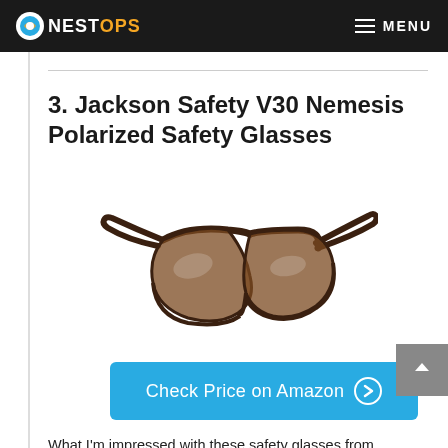NESTOPS  MENU
3. Jackson Safety V30 Nemesis Polarized Safety Glasses
[Figure (photo): Product photo of Jackson Safety V30 Nemesis polarized safety glasses with dark brown/tortoiseshell frame and brown tinted lenses, sporty wraparound style on white background.]
Check Price on Amazon →
What I'm impressed with these safety glasses from Jackson Safety is their stylish sporty model design that looks lightweight and is truly a lightweight construction at the same time. They are helpful in